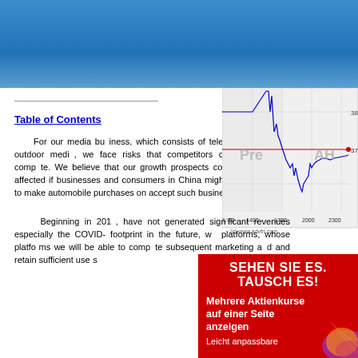[Figure (other): Blue gradient header bar at top of page]
Table of Contents
[Figure (continuous-plot): Stock price chart showing pre-market and after-hours trading, with a blue price line and a red horizontal reference line at 37. X-axis shows time values from 1100 to 2300. Y-axis shows prices around 37-38. Watermark: (c) www.advfn.com. Labels 'Pre' and 'AH' visible on chart.]
For our media business, which consists of television, radio and outdoor media, we face risks that competitors cannot effectively compete. We believe that our growth prospects could be adversely affected if businesses and consumers in China might be accustomed to make automobile purchases on accept such business model.
Beginning in 201, have not generated significant revenues especially the COVID- footprint in the future, w platforms, whose platfo we will be able to comp subsequent marketing a and retain sufficient use
[Figure (infographic): Red advertisement banner with German text: SEHEN SIE ES. TAUSCH ES! Mehrere Aktienkurse auf einer Seite anzeigen. Leicht anpassbare. Decorative abstract colorful image in bottom right corner.]